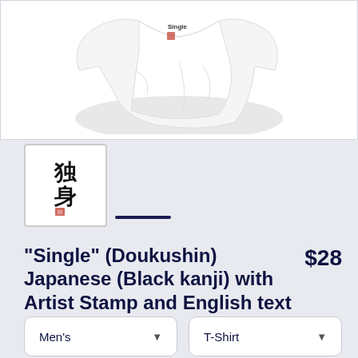[Figure (photo): White t-shirt folded/bunched, showing 'Single' text printed on it with Japanese kanji and artist stamp]
[Figure (photo): Thumbnail image of the t-shirt design showing Japanese kanji characters for 'doukushin' (独身) meaning Single, with red artist stamp at bottom]
"Single" (Doukushin) Japanese (Black kanji) with Artist Stamp and English text
$28
Men's
T-Shirt